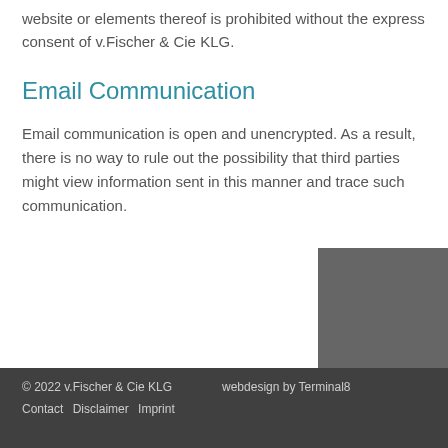website or elements thereof is prohibited without the express consent of v.Fischer & Cie KLG.
Email Communication
Email communication is open and unencrypted. As a result, there is no way to rule out the possibility that third parties might view information sent in this manner and trace such communication.
© 2022 v.Fischer & Cie KLG    webdesign by Terminal8
Contact  Disclaimer  Imprint